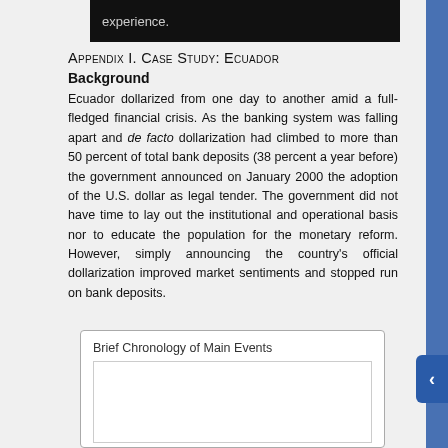experience.
Appendix I. Case Study: Ecuador
Background
Ecuador dollarized from one day to another amid a full-fledged financial crisis. As the banking system was falling apart and de facto dollarization had climbed to more than 50 percent of total bank deposits (38 percent a year before) the government announced on January 2000 the adoption of the U.S. dollar as legal tender. The government did not have time to lay out the institutional and operational basis nor to educate the population for the monetary reform. However, simply announcing the country's official dollarization improved market sentiments and stopped run on bank deposits.
Brief Chronology of Main Events